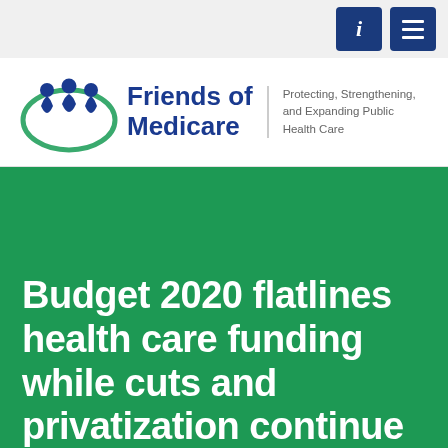[Figure (logo): Friends of Medicare logo with three human figure icons inside a green oval, blue bold text reading 'Friends of Medicare', vertical divider, and tagline 'Protecting, Strengthening, and Expanding Public Health Care']
Budget 2020 flatlines health care funding while cuts and privatization continue